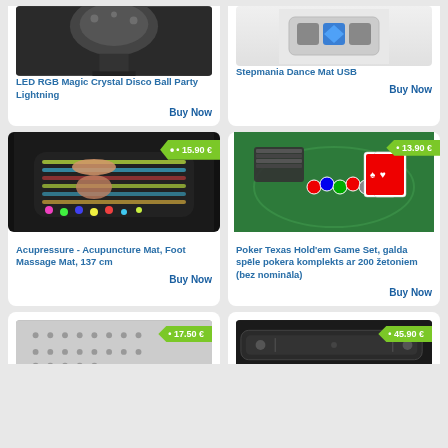[Figure (photo): LED RGB Magic Crystal Disco Ball Party Lightning product photo (partial, top cut off)]
LED RGB Magic Crystal Disco Ball Party Lightning
Buy Now
[Figure (photo): Stepmania Dance Mat USB product photo (partial, top cut off)]
Stepmania Dance Mat USB
Buy Now
[Figure (photo): Acupressure mat with feet on it, colorful acupuncture mat]
15.90 €
Acupressure - Acupuncture Mat, Foot Massage Mat, 137 cm
Buy Now
[Figure (photo): Poker Texas Hold'em game set with chips and cards on green table]
13.90 €
Poker Texas Hold'em Game Set, galda spēle pokera komplekts ar 200 žetoniem (bez nomināla)
Buy Now
[Figure (photo): Product image partial (bottom of page), price 17.50 €]
17.50 €
[Figure (photo): Product image partial (bottom of page), price 45.90 €]
45.90 €